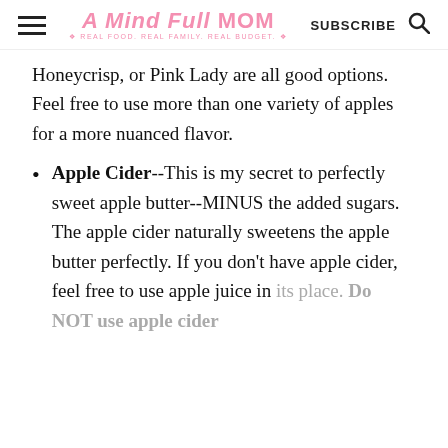A Mind Full Mom — REAL FOOD. REAL FAMILY. REAL BUDGET. — SUBSCRIBE
Honeycrisp, or Pink Lady are all good options. Feel free to use more than one variety of apples for a more nuanced flavor.
Apple Cider--This is my secret to perfectly sweet apple butter--MINUS the added sugars. The apple cider naturally sweetens the apple butter perfectly. If you don't have apple cider, feel free to use apple juice in its place. Do NOT use apple cider
(continued below)